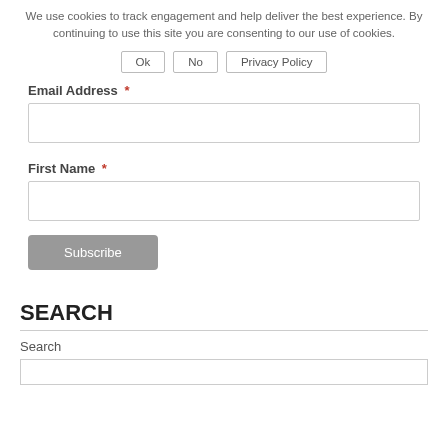We use cookies to track engagement and help deliver the best experience. By continuing to use this site you are consenting to our use of cookies.
Ok | No | Privacy Policy
Email Address *
First Name *
Subscribe
SEARCH
Search